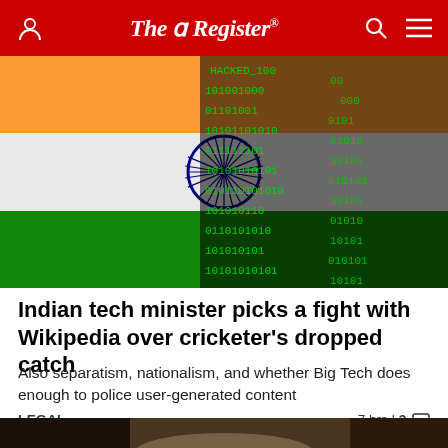The Register
[Figure (photo): Indian flag overlaid with green binary/hacking code and the text HACKED_100]
Indian tech minister picks a fight with Wikipedia over cricketer's dropped catch
Also separatism, nationalism, and whether Big Tech does enough to police user-generated content
LEGAL   7 hrs | 3
[Figure (photo): Partial photo of a person (woman with blonde hair) at the bottom of the page]